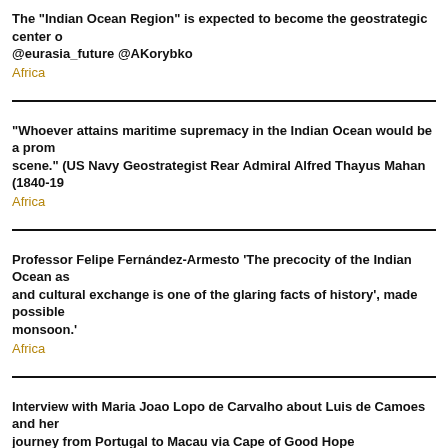The "Indian Ocean Region" is expected to become the geostrategic center o... @eurasia_future @AKorybko
Africa
"Whoever attains maritime supremacy in the Indian Ocean would be a prom... scene." (US Navy Geostrategist Rear Admiral Alfred Thayus Mahan (1840-19...
Africa
Professor Felipe Fernández-Armesto 'The precocity of the Indian Ocean as ... and cultural exchange is one of the glaring facts of history', made possible ... monsoon.'
Africa
Interview with Maria Joao Lopo de Carvalho about Luis de Camoes and her ... journey from Portugal to Macau via Cape of Good Hope
Africa
Interview with Maria Joao Lopo de Carvalho about Luis de Camoes and her book ... from Portugal to Macau via the Cape of Good Hope Mozambique Mombasa Malin... Macau Malacca